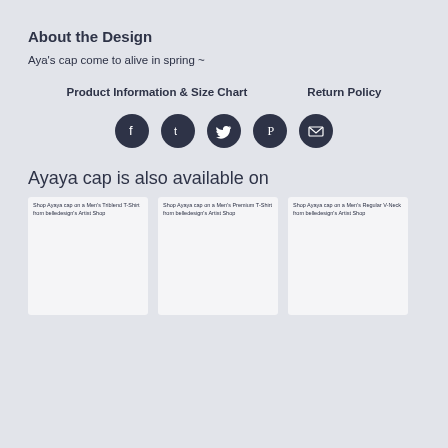About the Design
Aya's cap come to alive in spring ~
Product Information & Size Chart     Return Policy
[Figure (infographic): Five social media icon buttons (Facebook, Tumblr, Twitter, Pinterest, Email) as dark circular icons in a row]
Ayaya cap is also available on
[Figure (screenshot): Three product thumbnail cards side by side: 'Shop Ayaya cap on a Men's Triblend T-Shirt from belledesign's Artist Shop', 'Shop Ayaya cap on a Men's Premium T-Shirt from belledesign's Artist Shop', 'Shop Ayaya cap on a Men's Regular V-Neck from belledesign's Artist Shop']